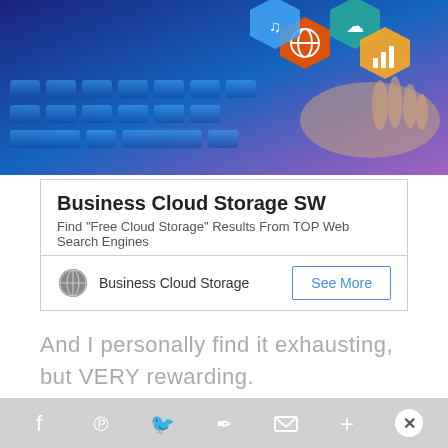[Figure (photo): Hands typing on a glowing blue keyboard with hexagonal technology icons floating above (cloud, globe, bar chart, music notes)]
Business Cloud Storage SW
Find "Free Cloud Storage" Results From TOP Web Search Engines
Business Cloud Storage
See More
And I personally find it exhausting, but VERY rewarding.
For more information about what an SLP is, you can check out this fact sheet from the American Speech Language-Hearing Association HERE.